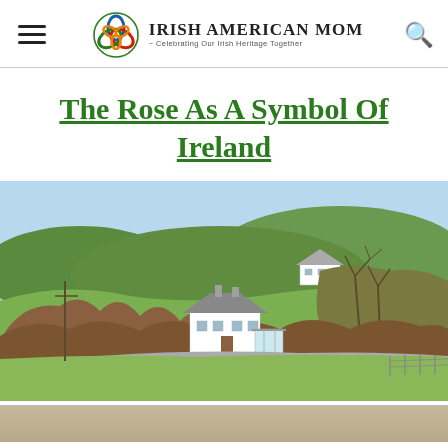Irish American Mom - Celebrating Our Irish Heritage Together
The Rose As A Symbol Of Ireland
[Figure (photo): An Irish rural landscape with rolling green hills, bare winter shrubs and hedgerows, a white farmhouse cottage in the background, a grey-roofed house with a sunroom in the middle ground, a stone wall fence, and a bright blue sky. The bottom portion shows a blurred stone or road surface.]